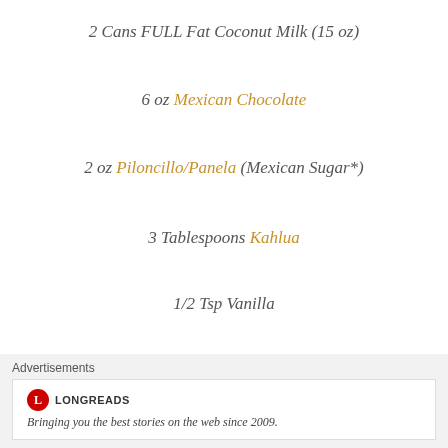2 Cans FULL Fat Coconut Milk (15 oz)
6 oz Mexican Chocolate
2 oz Piloncillo/Panela (Mexican Sugar*)
3 Tablespoons Kahlua
1/2 Tsp Vanilla
1 Tsp Cinnamon
1. Heat coconut milk in a medium sized saucepan or pot
Advertisements
[Figure (other): Longreads advertisement banner: logo with red circle L, brand name LONGREADS, tagline 'Bringing you the best stories on the web since 2009.']